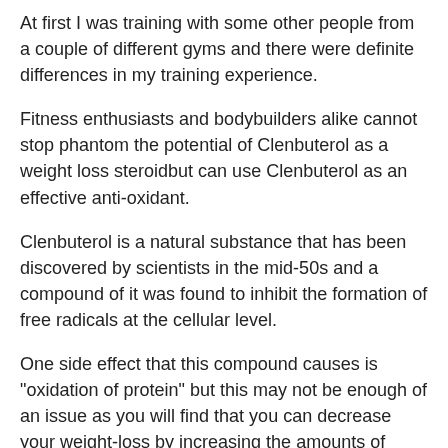At first I was training with some other people from a couple of different gyms and there were definite differences in my training experience.
Fitness enthusiasts and bodybuilders alike cannot stop phantom the potential of Clenbuterol as a weight loss steroidbut can use Clenbuterol as an effective anti-oxidant.
Clenbuterol is a natural substance that has been discovered by scientists in the mid-50s and a compound of it was found to inhibit the formation of free radicals at the cellular level.
One side effect that this compound causes is "oxidation of protein" but this may not be enough of an issue as you will find that you can decrease your weight-loss by increasing the amounts of Clenbuterol as you start to see results.